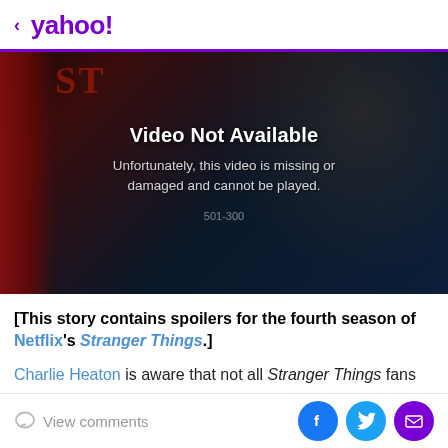< yahoo!
[Figure (screenshot): Video player showing 'Video Not Available' error screen with dark cinematic background. Text reads: 'Video Not Available' and 'Unfortunately, this video is missing or damaged and cannot be played.' with error code '501-300']
[This story contains spoilers for the fourth season of Netflix's Stranger Things.]
Charlie Heaton is aware that not all Stranger Things fans
View comments